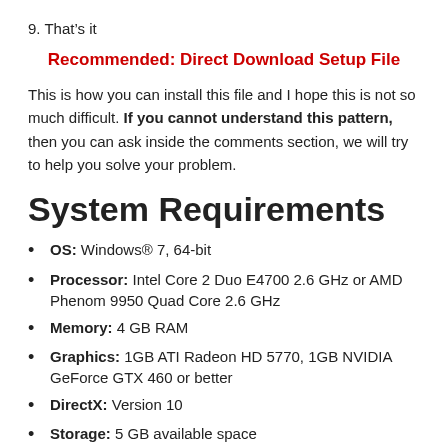9. That's it
Recommended: Direct Download Setup File
This is how you can install this file and I hope this is not so much difficult. If you cannot understand this pattern, then you can ask inside the comments section, we will try to help you solve your problem.
System Requirements
OS: Windows® 7, 64-bit
Processor: Intel Core 2 Duo E4700 2.6 GHz or AMD Phenom 9950 Quad Core 2.6 GHz
Memory: 4 GB RAM
Graphics: 1GB ATI Radeon HD 5770, 1GB NVIDIA GeForce GTX 460 or better
DirectX: Version 10
Storage: 5 GB available space